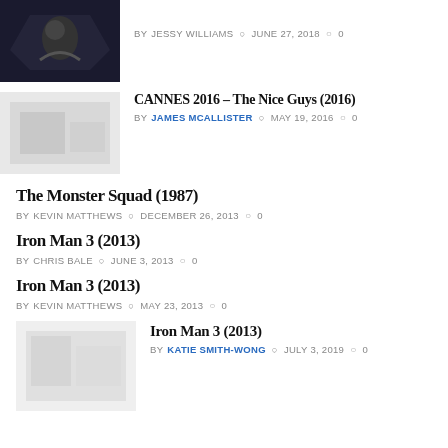[Figure (photo): Dark movie still thumbnail]
BY JESSY WILLIAMS  JUNE 27, 2018  0
CANNES 2016 – The Nice Guys (2016)
[Figure (photo): Light gray placeholder thumbnail]
BY JAMES MCALLISTER  MAY 19, 2016  0
The Monster Squad (1987)
BY KEVIN MATTHEWS  DECEMBER 26, 2013  0
Iron Man 3 (2013)
BY CHRIS BALE  JUNE 3, 2013  0
Iron Man 3 (2013)
BY KEVIN MATTHEWS  MAY 23, 2013  0
Iron Man 3 (2013)
[Figure (photo): Light gray placeholder thumbnail]
BY KATIE SMITH-WONG  JULY 3, 2019  0